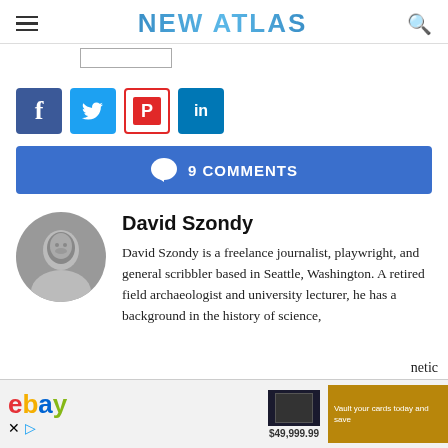NEW ATLAS
[Figure (screenshot): Search box UI element]
[Figure (infographic): Social share buttons: Facebook, Twitter, Flipboard, LinkedIn]
9 COMMENTS
David Szondy
David Szondy is a freelance journalist, playwright, and general scribbler based in Seattle, Washington. A retired field archaeologist and university lecturer, he has a background in the history of science,
[Figure (screenshot): eBay advertisement banner at bottom of page]